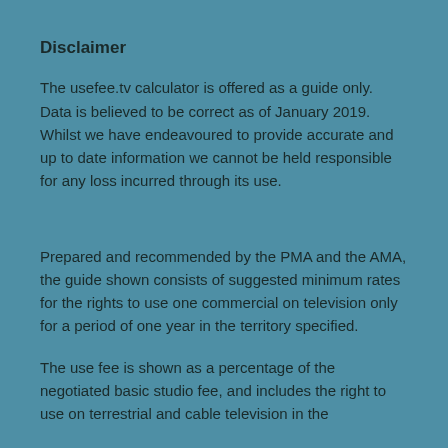Disclaimer
The usefee.tv calculator is offered as a guide only. Data is believed to be correct as of January 2019. Whilst we have endeavoured to provide accurate and up to date information we cannot be held responsible for any loss incurred through its use.
Prepared and recommended by the PMA and the AMA, the guide shown consists of suggested minimum rates for the rights to use one commercial on television only for a period of one year in the territory specified.
The use fee is shown as a percentage of the negotiated basic studio fee, and includes the right to use on terrestrial and cable television in the